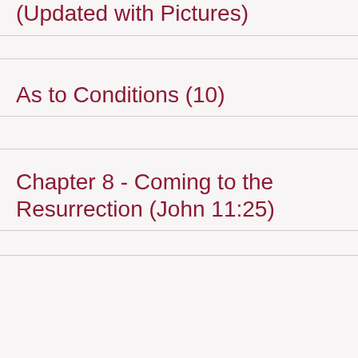Conference: A Blessed Event (Updated with Pictures)
As to Conditions (10)
Chapter 8 - Coming to the Resurrection (John 11:25)